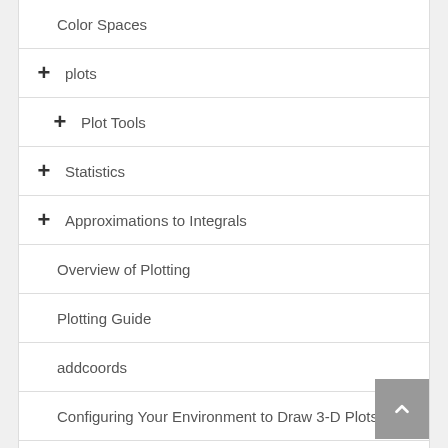Color Spaces
+ plots
+ Plot Tools
+ Statistics
+ Approximations to Integrals
Overview of Plotting
Plotting Guide
addcoords
Configuring Your Environment to Draw 3-D Plots
coords
Efficient Computation with Plotting Commands